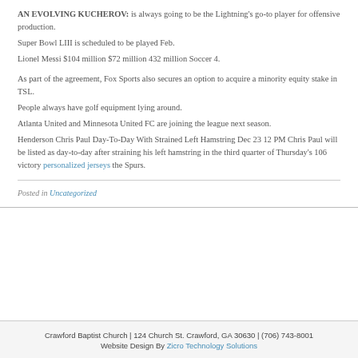AN EVOLVING KUCHEROV: is always going to be the Lightning's go-to player for offensive production.
Super Bowl LIII is scheduled to be played Feb.
Lionel Messi $104 million $72 million 432 million Soccer 4.
As part of the agreement, Fox Sports also secures an option to acquire a minority equity stake in TSL.
People always have golf equipment lying around.
Atlanta United and Minnesota United FC are joining the league next season.
Henderson Chris Paul Day-To-Day With Strained Left Hamstring Dec 23 12 PM Chris Paul will be listed as day-to-day after straining his left hamstring in the third quarter of Thursday's 106 victory personalized jerseys the Spurs.
Posted in Uncategorized
Crawford Baptist Church | 124 Church St. Crawford, GA 30630 | (706) 743-8001
Website Design By Zicro Technology Solutions